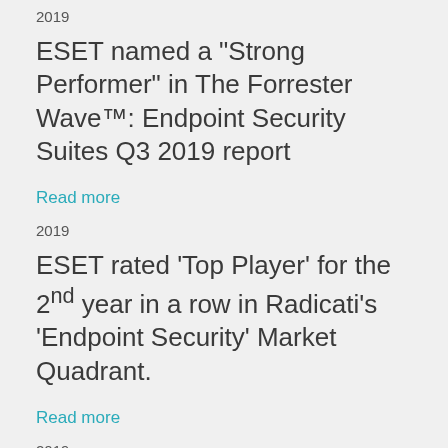2019
ESET named a "Strong Performer" in The Forrester Wave™: Endpoint Security Suites Q3 2019 report
Read more
2019
ESET rated 'Top Player' for the 2nd year in a row in Radicati's 'Endpoint Security' Market Quadrant.
Read more
2019
ESET achieves 'Champion' status in Canalys Global Cybersecurity...